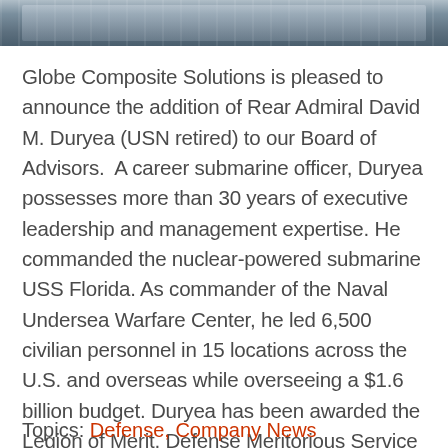[Figure (photo): Photograph strip showing naval/military personnel, partially cropped at top of page]
Globe Composite Solutions is pleased to announce the addition of Rear Admiral David M. Duryea (USN retired) to our Board of Advisors. A career submarine officer, Duryea possesses more than 30 years of executive leadership and management expertise. He commanded the nuclear-powered submarine USS Florida. As commander of the Naval Undersea Warfare Center, he led 6,500 civilian personnel in 15 locations across the U.S. and overseas while overseeing a $1.6 billion budget. Duryea has been awarded the Legion of Merit, Defense Meritorious Service Medal, and various other personal, unit and campaign level awards. He is a member of the Naval Submarine League and the Military Officers of America Association.
Topics: Defense, Company News